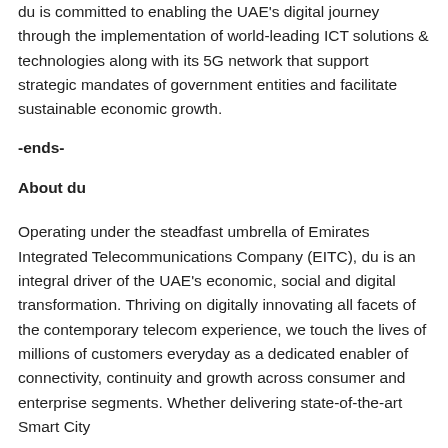du is committed to enabling the UAE's digital journey through the implementation of world-leading ICT solutions & technologies along with its 5G network that support strategic mandates of government entities and facilitate sustainable economic growth.
-ends-
About du
Operating under the steadfast umbrella of Emirates Integrated Telecommunications Company (EITC), du is an integral driver of the UAE's economic, social and digital transformation. Thriving on digitally innovating all facets of the contemporary telecom experience, we touch the lives of millions of customers everyday as a dedicated enabler of connectivity, continuity and growth across consumer and enterprise segments. Whether delivering state-of-the-art Smart City